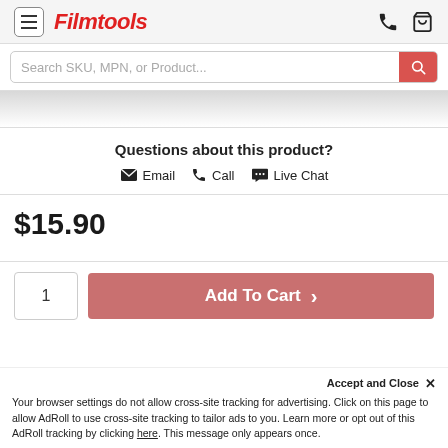Filmtools
Search SKU, MPN, or Product...
Questions about this product?
Email  Call  Live Chat
$15.90
1   Add To Cart  >
Accept and Close ×
Your browser settings do not allow cross-site tracking for advertising. Click on this page to allow AdRoll to use cross-site tracking to tailor ads to you. Learn more or opt out of this AdRoll tracking by clicking here. This message only appears once.